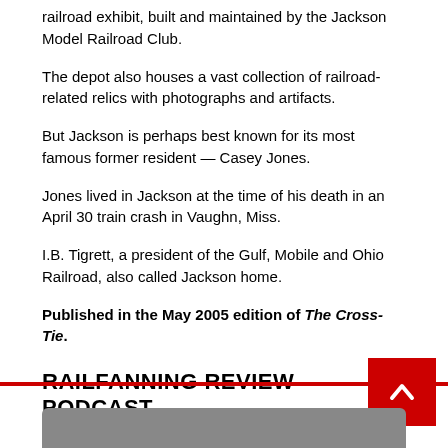railroad exhibit, built and maintained by the Jackson Model Railroad Club.
The depot also houses a vast collection of railroad-related relics with photographs and artifacts.
But Jackson is perhaps best known for its most famous former resident — Casey Jones.
Jones lived in Jackson at the time of his death in an April 30 train crash in Vaughn, Miss.
I.B. Tigrett, a president of the Gulf, Mobile and Ohio Railroad, also called Jackson home.
Published in the May 2005 edition of The Cross-Tie.
RAILFANNING REVIEW PODCAST